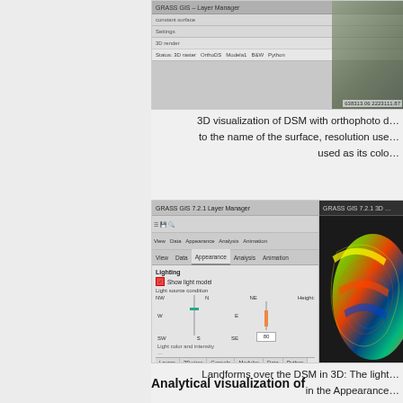[Figure (screenshot): GRASS GIS screenshot showing 3D visualization settings with DSM and orthophoto overlay, toolbar and layer manager visible, with coordinate display at bottom right]
3D visualization of DSM with orthophoto draped to the name of the surface, resolution used as its color
[Figure (screenshot): GRASS GIS Layer Manager showing Lighting panel under Appearance tab with light source position sliders and height input set to 80, alongside 3D view of landforms over DSM with colorful terrain visualization]
Landforms over the DSM in 3D: The light in the Appearance
Analytical visualization of